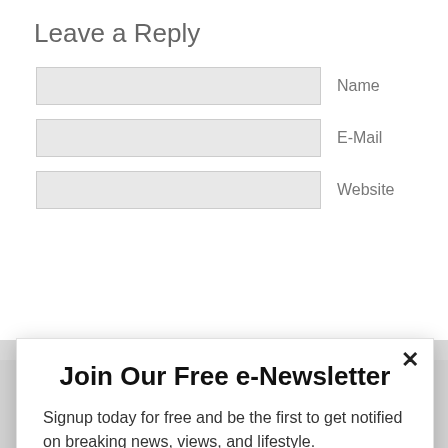Leave a Reply
Name
E-Mail
Website
Join Our Free e-Newsletter
Signup today for free and be the first to get notified on breaking news, views, and lifestyle.
Enter your email
Subscribe
powered by MailMunch